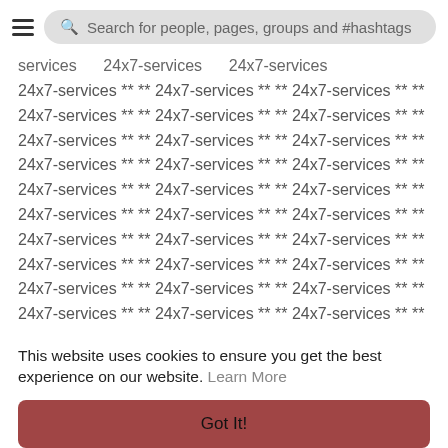Search for people, pages, groups and #hashtags
services 24x7-services 24x7-services (truncated top)
24x7-services ** ** 24x7-services ** ** 24x7-services ** ** 24x7-services ** ** 24x7-services ** ** 24x7-services ** ** 24x7-services ** ** 24x7-services ** ** 24x7-services ** ** 24x7-services ** ** 24x7-services ** ** 24x7-services ** ** 24x7-services ** ** 24x7-services ** ** 24x7-services ** ** 24x7-services ** ** 24x7-services ** ** 24x7-services ** ** 24x7-services ** ** 24x7-services ** ** 24x7-services ** ** 24x7-services ** ** 24x7-services ** ** 24x7-services ** ** 24x7-services ** ** 24x7-services ** ** 24x7-services ** **
This website uses cookies to ensure you get the best experience on our website. Learn More
Got It!